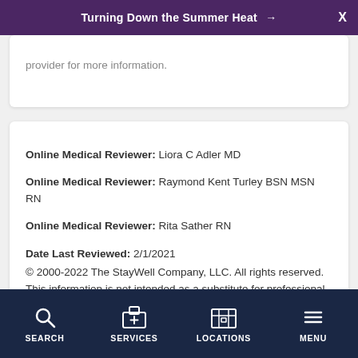Turning Down the Summer Heat →  X
provider for more information.
Online Medical Reviewer: Liora C Adler MD
Online Medical Reviewer: Raymond Kent Turley BSN MSN RN
Online Medical Reviewer: Rita Sather RN
Date Last Reviewed: 2/1/2021
© 2000-2022 The StayWell Company, LLC. All rights reserved. This information is not intended as a substitute for professional medical care. Always follow your healthcare professional's instructions.
SEARCH  SERVICES  LOCATIONS  MENU